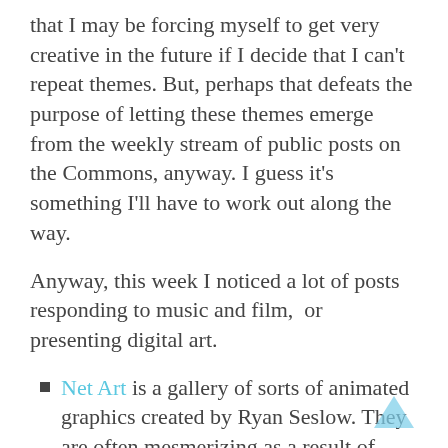that I may be forcing myself to get very creative in the future if I decide that I can't repeat themes. But, perhaps that defeats the purpose of letting these themes emerge from the weekly stream of public posts on the Commons, anyway. I guess it's something I'll have to work out along the way.
Anyway, this week I noticed a lot of posts responding to music and film,  or presenting digital art.
Net Art is a gallery of sorts of animated graphics created by Ryan Seslow. They are often mesmerizing as a result of their looping pattern. I'm quite fond of the most recent, the endless A-train that reminds all at once of ride I once had, the view of an oncoming train when you're at the front of a station, and the cheesy PowerPoint transitions we all like to use between slides.